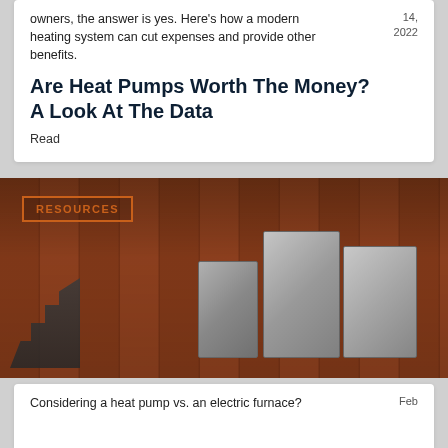owners, the answer is yes. Here's how a modern heating system can cut expenses and provide other benefits.
14, 2022
Are Heat Pumps Worth The Money? A Look At The Data
Read
[Figure (photo): Photo of industrial heat pump HVAC units mounted outside against a red brick wall, with metal stairs visible on the left. A badge reading RESOURCES with an orange border is overlaid in the top-left corner.]
Considering a heat pump vs. an electric furnace?
Feb